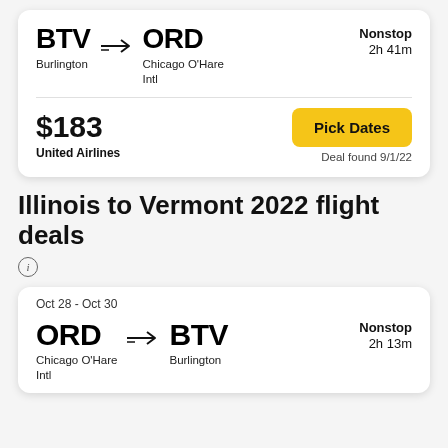BTV → ORD | Burlington | Chicago O'Hare Intl | Nonstop | 2h 41m
$183 | United Airlines | Pick Dates | Deal found 9/1/22
Illinois to Vermont 2022 flight deals
Oct 28 - Oct 30
ORD → BTV | Chicago O'Hare Intl | Burlington | Nonstop | 2h 13m